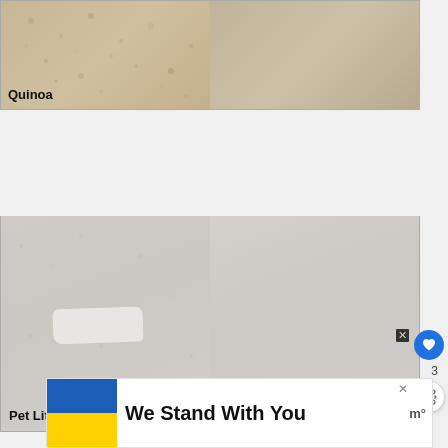[Figure (photo): Two-panel photo of quinoa grain on textured surface, labeled 'Quinoa']
[Figure (photo): Two-panel photo of pet litter on gray surface with white powder spill, labeled 'Pet Litter']
[Figure (other): Advertisement: Big Brothers Big Sisters - EMPOWER A KID IN YOUR COMMUNITY TODAY. Learn How button]
[Figure (other): Advertisement: Ukraine flag with text 'We Stand With You' and Minted logo]